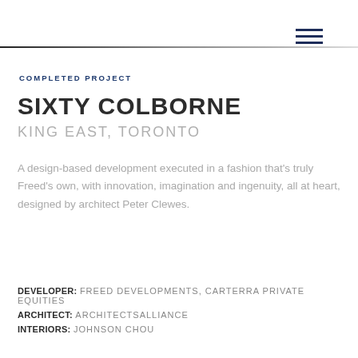≡
COMPLETED PROJECT
SIXTY COLBORNE
KING EAST, TORONTO
A design-based development executed in a fashion that's truly Freed's own, with innovation, imagination and ingenuity, all at heart, designed by architect Peter Clewes.
DEVELOPER: FREED DEVELOPMENTS, CARTERRA PRIVATE EQUITIES
ARCHITECT: ARCHITECTSALLIANCE
INTERIORS: JOHNSON CHOU